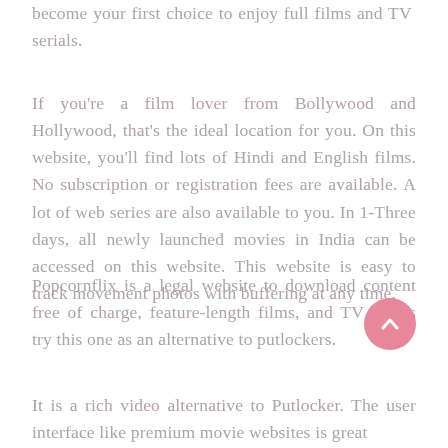become your first choice to enjoy full films and TV serials.
If you're a film lover from Bollywood and Hollywood, that's the ideal location for you. On this website, you'll find lots of Hindi and English films. No subscription or registration fees are available. A lot of web series are also available to you. In 1-Three days, all newly launched movies in India can be accessed on this website. This website is easy to track movement photos with buffering at any time.
Popcornflix is a legal website to download content free of charge, feature-length films, and TV shows try this one as an alternative to putlockers.
It is a rich video alternative to Putlocker. The user interface like premium movie websites is great